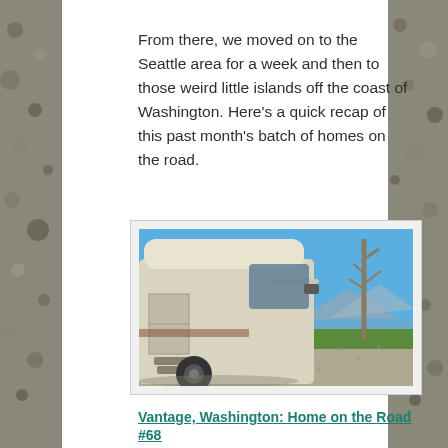From there, we moved on to the Seattle area for a week and then to those weird little islands off the coast of Washington. Here's a quick recap of this past month's batch of homes on the road.
[Figure (photo): A motorhome/RV parked on a gravel road beside a bare tree, with a lake and mountains visible in the background under a clear blue sky.]
Vantage, Washington: Home on the Road #68